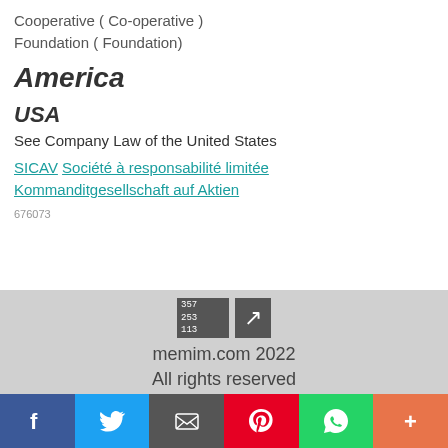Cooperative ( Co-operative )
Foundation ( Foundation)
America
USA
See Company Law of the United States
SICAV Société à responsabilité limitée Kommanditgesellschaft auf Aktien
676073
memim.com 2022
All rights reserved
Page generated in 0.901